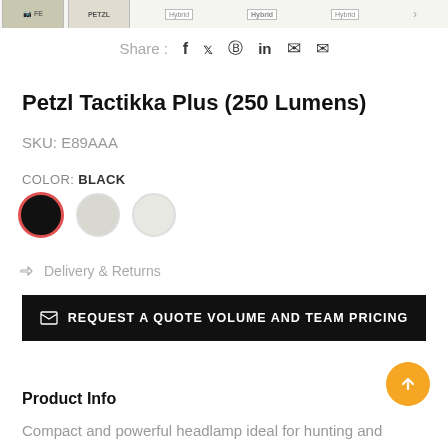[Figure (screenshot): Top strip showing product thumbnail images and hybrid logo tags]
Share : f  twitter  pinterest  in  whatsapp  email
Petzl Tactikka Plus (250 Lumens)
SKU: E89AAA
COLOR: BLACK
[Figure (other): Three color swatches: black (selected with red border), light gray, lighter gray]
Delivery & Returns
REQUEST A QUOTE VOLUME AND TEAM PRICING
Product Info
Compact and powerful headlamp ideal for hunting and